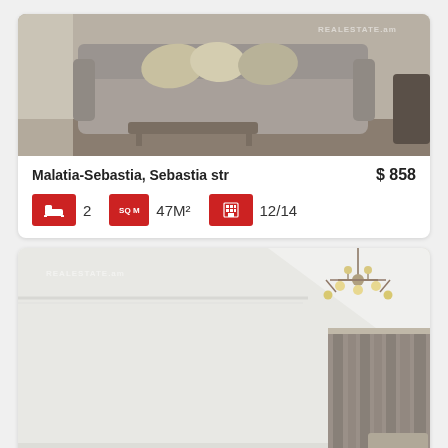[Figure (photo): Interior photo of a living room with gray sofa and decorative pillows; REALESTATE.am watermark visible]
Malatia-Sebastia, Sebastia str
$ 858
2
SQ M 47M²
12/14
[Figure (photo): Interior photo of a bright white room with a chandelier and patterned curtains; REALESTATE.am watermark visible]